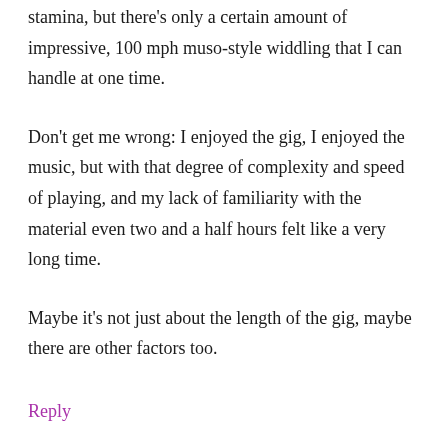stamina, but there’s only a certain amount of impressive, 100 mph muso-style widdling that I can handle at one time.
Don’t get me wrong: I enjoyed the gig, I enjoyed the music, but with that degree of complexity and speed of playing, and my lack of familiarity with the material even two and a half hours felt like a very long time.
Maybe it’s not just about the length of the gig, maybe there are other factors too.
Reply